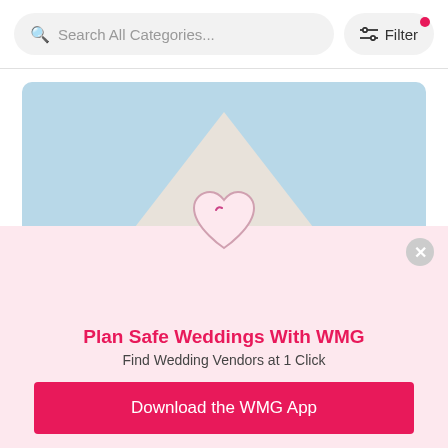Search All Categories... | Filter
[Figure (photo): WedMeGood wedding photo showing a white tent/canopy against a blue sky with a bride and groom partially visible at the bottom with red wedding accessories]
Plan Safe Weddings With WMG
Find Wedding Vendors at 1 Click
Download the WMG App